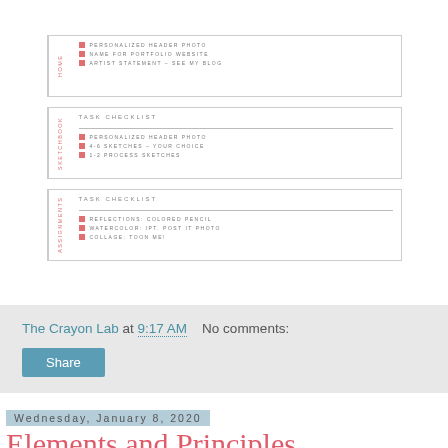[Figure (screenshot): Screenshot of a blog/portfolio checklist template showing three cards: HOME card with tasks (Personalized Header Photo, Name for Portfolio Website, Artist Statement – See My Blog), SKETCHBOOK card with tasks (Personalized Header Photo, 4-6 Sketches – Your Choice, 1-2 Process Sketches), and ASSIGNMENTS card with tasks (Reflections: Colored Pencil, Watercolor: IPt. Post It Photo, Collage: Toon Me!)]
The Crayon Lab at 9:17 AM    No comments:
Share
Wednesday, January 8, 2020
Elements and Principles